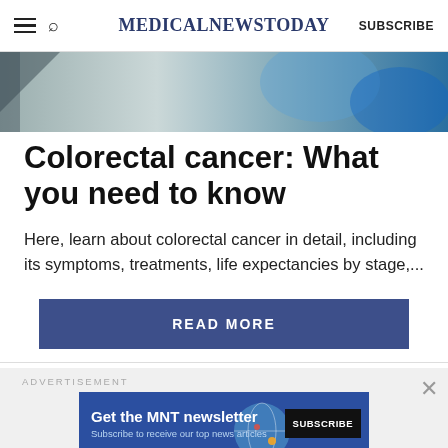MedicalNewsToday SUBSCRIBE
[Figure (photo): Partial view of a medical/clinical image with blue tones, cropped at top of page]
Colorectal cancer: What you need to know
Here, learn about colorectal cancer in detail, including its symptoms, treatments, life expectancies by stage,...
READ MORE
ADVERTISEMENT
[Figure (infographic): MNT newsletter advertisement banner: 'Get the MNT newsletter — Subscribe to receive our top news articles' with SUBSCRIBE button]